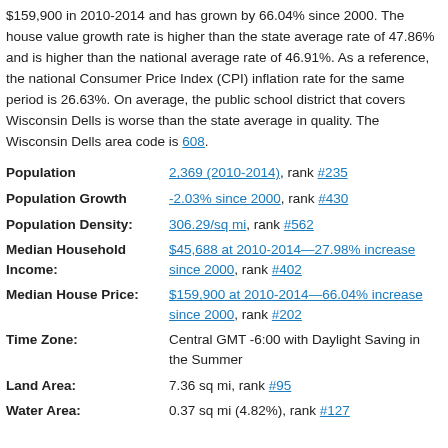$159,900 in 2010-2014 and has grown by 66.04% since 2000. The house value growth rate is higher than the state average rate of 47.86% and is higher than the national average rate of 46.91%. As a reference, the national Consumer Price Index (CPI) inflation rate for the same period is 26.63%. On average, the public school district that covers Wisconsin Dells is worse than the state average in quality. The Wisconsin Dells area code is 608.
| Field | Value |
| --- | --- |
| Population | 2,369 (2010-2014), rank #235 |
| Population Growth | -2.03% since 2000, rank #430 |
| Population Density: | 306.29/sq mi, rank #562 |
| Median Household Income: | $45,688 at 2010-2014—27.98% increase since 2000, rank #402 |
| Median House Price: | $159,900 at 2010-2014—66.04% increase since 2000, rank #202 |
| Time Zone: | Central GMT -6:00 with Daylight Saving in the Summer |
| Land Area: | 7.36 sq mi, rank #95 |
| Water Area: | 0.37 sq mi (4.82%), rank #127 |